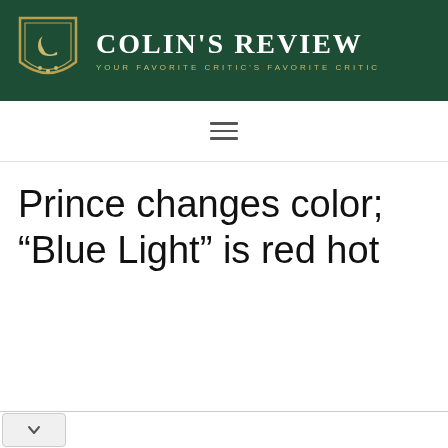[Figure (logo): Colin's Review website header with dark green background, shield logo with letter C and gold crescent, site title 'COLIN'S REVIEW' in white serif font, tagline 'YOUR FAVORITE CRITIC'S FAVORITE CRITIC' in gold spaced caps]
[Figure (other): Hamburger menu icon (three horizontal lines)]
Prince changes color; “Blue Light” is red hot